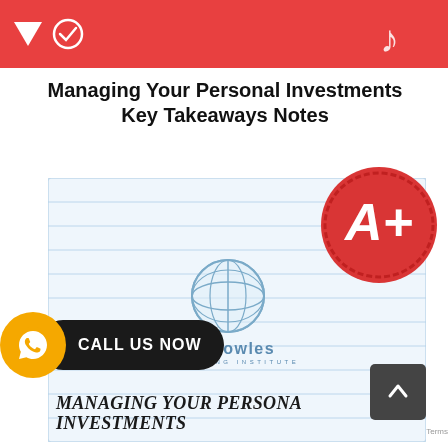[Figure (screenshot): Red banner header with white triangle and check-circle icons on the left, music note icon on the right]
Managing Your Personal Investments Key Takeaways Notes
[Figure (illustration): Notepad-style card with lined paper background, A+ red circle badge top-right, Knowles Training Institute globe logo in center, and 'Managing Your Personal Investments' text at bottom in italic serif font. A WhatsApp 'CALL US NOW' button overlays bottom-left. A scroll-to-top arrow button overlays bottom-right.]